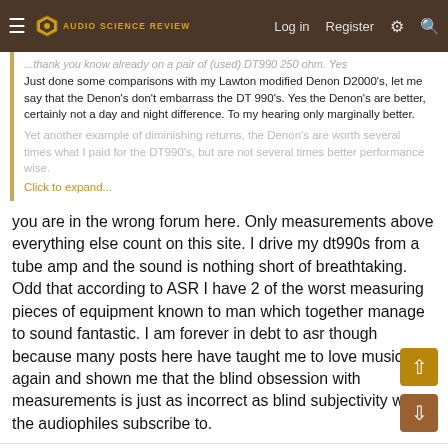Audio Science Review — Log in | Register
...thank you know already on a pair of (used) DT990 250 ohm. Yes
Just done some comparisons with my Lawton modified Denon D2000's, let me say that the Denon's don't embarrass the DT 990's. Yes the Denon's are better, certainly not a day and night difference. To my hearing only marginally better.
Yet another example of diminishing returns, the Denon's are worth several times what I paid for the DT990's, but are not several times better performance wise. Click to expand...
you are in the wrong forum here. Only measurements above everything else count on this site. I drive my dt990s from a tube amp and the sound is nothing short of breathtaking. Odd that according to ASR I have 2 of the worst measuring pieces of equipment known to man which together manage to sound fantastic. I am forever in debt to asr though because many posts here have taught me to love music again and shown me that the blind obsession with measurements is just as incorrect as blind subjectivity which the audiophiles subscribe to.
Judda